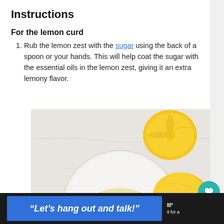Instructions
For the lemon curd
Rub the lemon zest with the sugar using the back of a spoon or your hands. This will help coat the sugar with the essential oils in the lemon zest, giving it an extra lemony flavor.
[Figure (photo): A white plate with grated lemon zest on it, surrounded by whole lemons and a dark bowl on a white marble surface.]
“Let’s hang out and talk!”